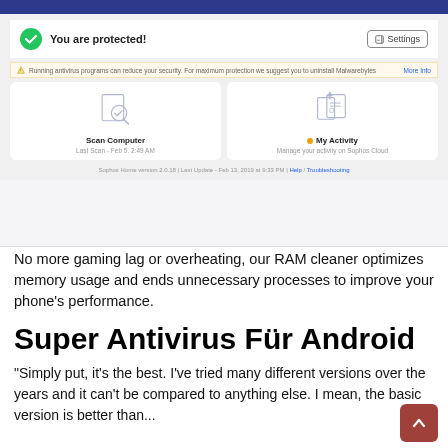[Figure (screenshot): Sophos Home antivirus application screenshot showing 'You are protected!' status with green checkmark, Settings button, warning about running antivirus programs, Scan Computer card showing Last Scan Feb 5 2:49 AM, My Activity card for Sophos Cloud, and footer with version info and Help/Troubleshooting links.]
No more gaming lag or overheating, our RAM cleaner optimizes memory usage and ends unnecessary processes to improve your phone’s performance.
Super Antivirus Für Android
“Simply put, it’s the best. I’ve tried many different versions over the years and it can’t be compared to anything else. I mean, the basic version is better than...